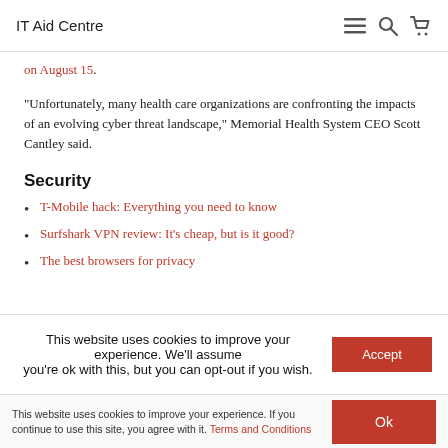IT Aid Centre
on August 15.
“Unfortunately, many health care organizations are confronting the impacts of an evolving cyber threat landscape,” Memorial Health System CEO Scott Cantley said.
Security
T-Mobile hack: Everything you need to know
Surfshark VPN review: It’s cheap, but is it good?
The best browsers for privacy
This website uses cookies to improve your experience. We'll assume you're ok with this, but you can opt-out if you wish.
This website uses cookies to improve your experience. If you continue to use this site, you agree with it. Terms and Conditions